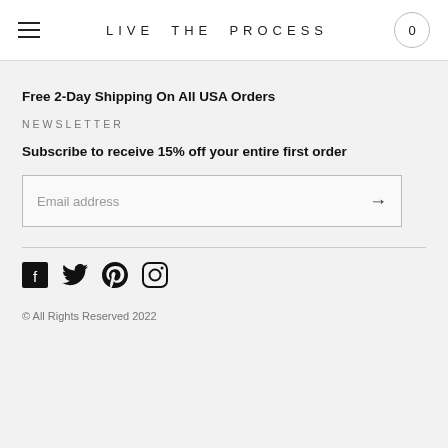LIVE THE PROCESS
Free 2-Day Shipping On All USA Orders
NEWSLETTER
Subscribe to receive 15% off your entire first order
Email address
[Figure (other): Social media icons: Facebook, Twitter, Pinterest, Instagram]
© All Rights Reserved 2022